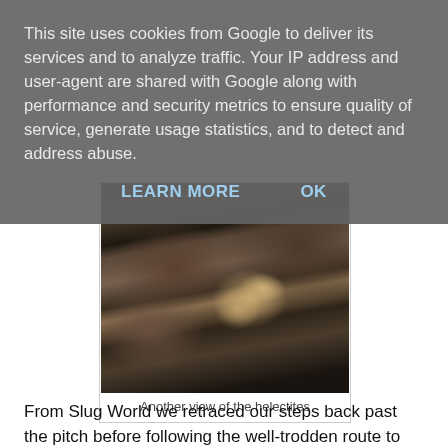This site uses cookies from Google to deliver its services and to analyze traffic. Your IP address and user-agent are shared with Google along with performance and security metrics to ensure quality of service, generate usage statistics, and to detect and address abuse.
LEARN MORE    OK
[Figure (photo): A dark cave photograph showing helectites — pale, twisted mineral formations growing from a rough dark rock surface.]
Another view of the helectites
From Slug World we retraced our steps back past the pitch before following the well-trodden route to Bridges Hall and th...